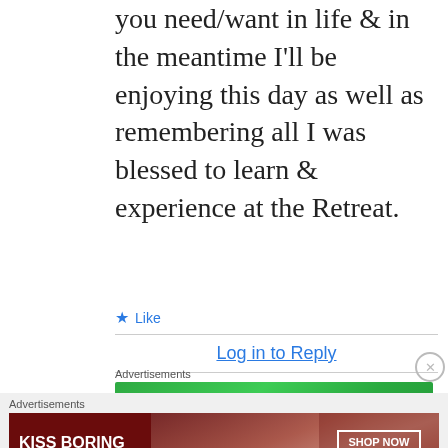you need/want in life & in the meantime I'll be enjoying this day as well as remembering all I was blessed to learn & experience at the Retreat.
★ Like
Log in to Reply
Advertisements
[Figure (other): Jetpack advertisement banner with green background, Jetpack logo and 'Secure Your Site' button]
REPORT THIS AD
[Figure (other): Macy's advertisement banner with red background showing 'KISS BORING LIPS GOODBYE' text, woman's face, SHOP NOW button and Macy's star logo]
REPORT THIS AD